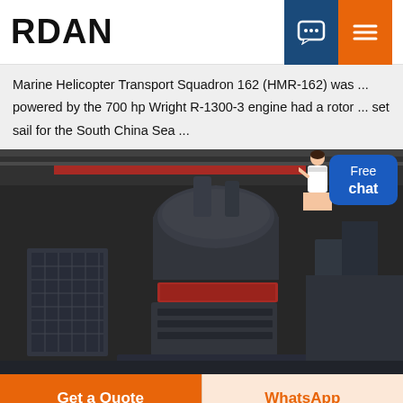RDAN
Marine Helicopter Transport Squadron 162 (HMR-162) was ... powered by the 700 hp Wright R-1300-3 engine had a rotor ... set sail for the South China Sea ...
[Figure (photo): Industrial heavy machinery (crusher/cone crusher) in a factory/warehouse setting with overhead cranes, dark metal structure with red band, industrial building interior]
Get a Quote
WhatsApp